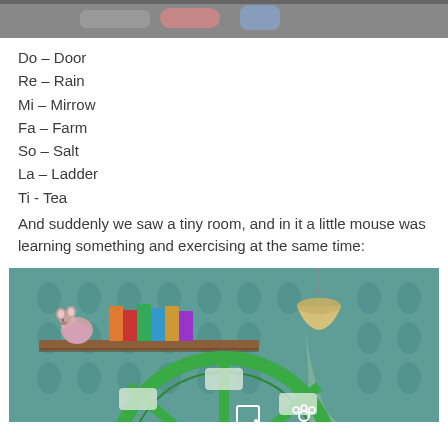[Figure (photo): Top portion of an image (partially visible), appears to show colorful scene from a children's book or app]
Do – Door
Re – Rain
Mi – Mirrow
Fa – Farm
So – Salt
La – Ladder
Ti - Tea
And suddenly we saw a tiny room, and in it a little mouse was learning something and exercising at the same time:
[Figure (photo): Illustration of a cozy mouse room with teal wallpaper, a shelf holding a toy mouse and colorful books, a hanging lamp, and a large green exercise wheel with text panels]